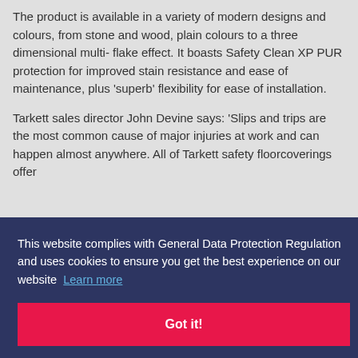The product is available in a variety of modern designs and colours, from stone and wood, plain colours to a three dimensional multi- flake effect. It boasts Safety Clean XP PUR protection for improved stain resistance and ease of maintenance, plus 'superb' flexibility for ease of installation.
Tarkett sales director John Devine says: 'Slips and trips are the most common cause of major injuries at work and can happen almost anywhere. All of Tarkett safety floorcoverings offer
content ds.
d, ll them
[Figure (screenshot): Cookie consent popup overlay with dark navy background. Text reads: 'This website complies with General Data Protection Regulation and uses cookies to ensure you get the best experience on our website' with a 'Learn more' link. Below is a pink/red 'Got it!' button.]